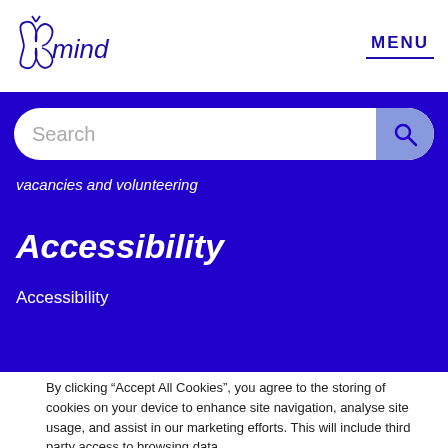mind | MENU
Search
vacancies and volunteering
Accessibility
Accessibility
By clicking “Accept All Cookies”, you agree to the storing of cookies on your device to enhance site navigation, analyse site usage, and assist in our marketing efforts. This will include third party access to browsing data.
Manage my settings
Accept all cookies